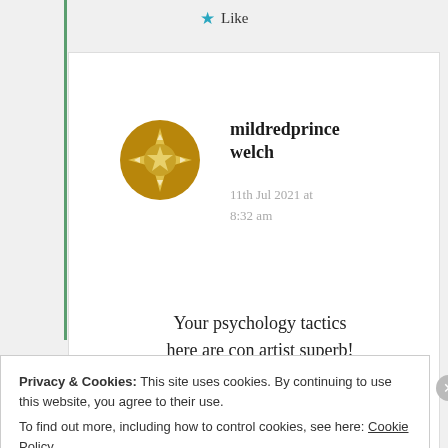[Figure (other): Star like button icon (teal/cyan star) with 'Like' text]
[Figure (other): Golden/dark yellow circular avatar icon with decorative star/compass pattern for user mildredprincelwelch]
mildredprince welch
11th Jul 2021 at 8:32 am
Your psychology tactics here are con artist superb!
Privacy & Cookies: This site uses cookies. By continuing to use this website, you agree to their use.
To find out more, including how to control cookies, see here: Cookie Policy
Close and accept